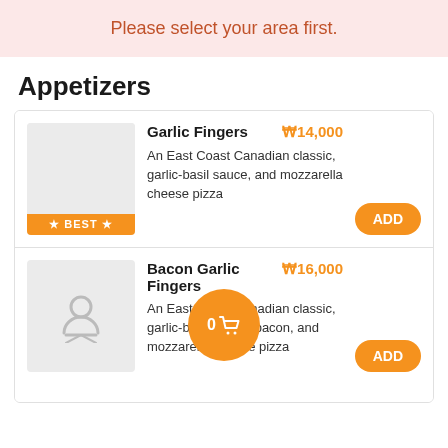Please select your area first.
Appetizers
Garlic Fingers ₩14,000 — An East Coast Canadian classic, garlic-basil sauce, and mozzarella cheese pizza. BEST. ADD.
Bacon Garlic Fingers ₩16,000 — An East Coast Canadian classic, garlic-basil sauce, bacon, and mozzarella cheese pizza. ADD.